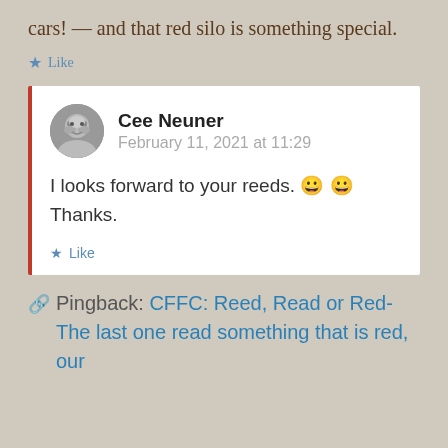cars! — and that red silo is something special.
★ Like
Cee Neuner
February 11, 2021 at 11:29

I looks forward to your reeds. 😀 😀 Thanks.

★ Like
🔗 Pingback: CFFC: Reed, Read or Red- The last one read something that is red, our